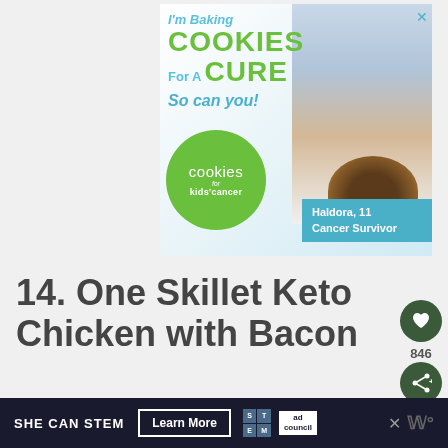[Figure (illustration): Advertisement banner for 'Cookies for Kids' Cancer' showing a girl holding chocolate cookies, with text 'I'm Baking COOKIES For A CURE So can you!' and a green circle logo. Features Haldora, 11, Cancer Survivor label.]
14. One Skillet Keto Chicken with Bacon
[Figure (illustration): Bottom advertisement banner: SHE CAN STEM - Learn More button, STEM logo grid, Ad Council logo, with dark background.]